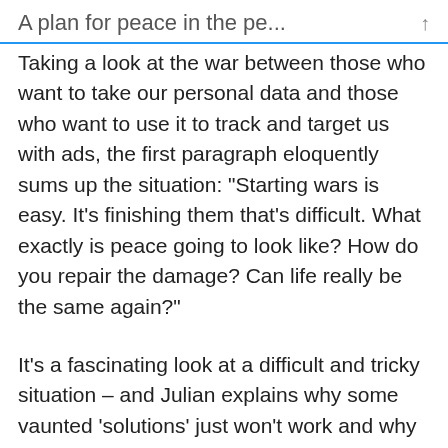A plan for peace in the pe... ↑
Taking a look at the war between those who want to take our personal data and those who want to use it to track and target us with ads, the first paragraph eloquently sums up the situation: “Starting wars is easy. It’s finishing them that’s difficult. What exactly is peace going to look like? How do you repair the damage? Can life really be the same again?”
It’s a fascinating look at a difficult and tricky situation – and Julian explains why some vaunted ‘solutions’ just won’t work and why the digi.me-supported Internet of Me vision